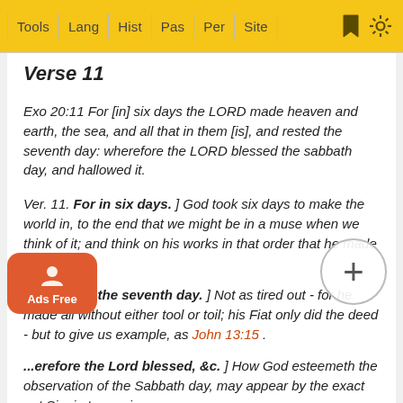Tools | Lang | Hist | Pas | Per | Site
Verse 11
Exo 20:11 For [in] six days the LORD made heaven and earth, the sea, and all that in them [is], and rested the seventh day: wherefore the LORD blessed the sabbath day, and hallowed it.
Ver. 11. For in six days. ] God took six days to make the world in, to the end that we might be in a muse when we think of it; and think on his works in that order that he made them.
And rested the seventh day. ] Not as tired out - for he made all without either tool or toil; his Fiat only did the deed - but to give us example, as John 13:15.
...erefore the Lord blessed, &c. ] How God esteemeth the observation of the Sabbath day, may appear by the exact... Mount Sinai, ...not appro... ...is